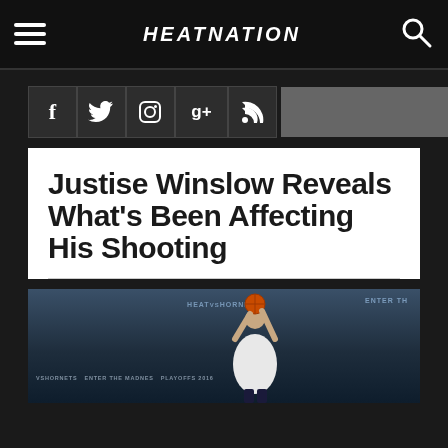HEATNATION
Justise Winslow Reveals What's Been Affecting His Shooting
[Figure (photo): Basketball player in white uniform shooting in an arena, with scoreboard text visible showing HEAT VS HORNETS and PLAYOFFS 2016]